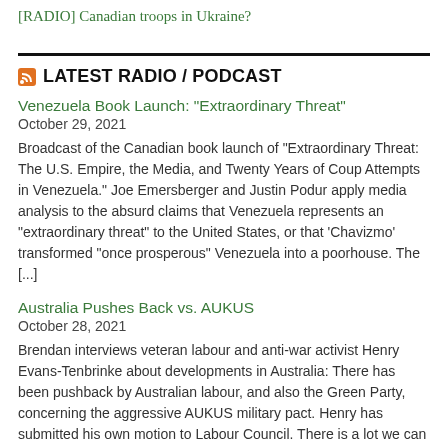[RADIO] Canadian troops in Ukraine?
LATEST RADIO / PODCAST
Venezuela Book Launch: "Extraordinary Threat"
October 29, 2021
Broadcast of the Canadian book launch of "Extraordinary Threat: The U.S. Empire, the Media, and Twenty Years of Coup Attempts in Venezuela." Joe Emersberger and Justin Podur apply media analysis to the absurd claims that Venezuela represents an "extraordinary threat" to the United States, or that 'Chavizmo' transformed "once prosperous" Venezuela into a poorhouse. The [...]
Australia Pushes Back vs. AUKUS
October 28, 2021
Brendan interviews veteran labour and anti-war activist Henry Evans-Tenbrinke about developments in Australia: There has been pushback by Australian labour, and also the Green Party, concerning the aggressive AUKUS military pact. Henry has submitted his own motion to Labour Council. There is a lot we can do in Canada to oppose the developing Cold War [...]